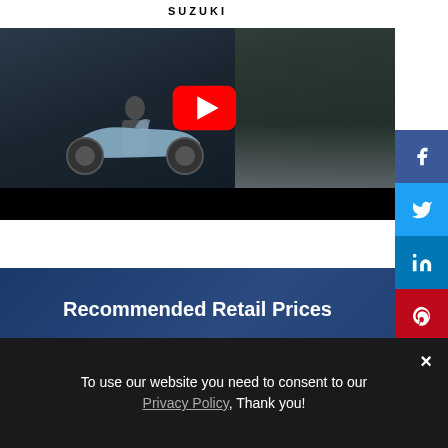[Figure (screenshot): Suzuki motorcycle/scooter promotional YouTube video thumbnail showing a scooter being ridden out of a garage, with YouTube play button overlay]
Recommended Retail Prices
Suzuki Burgman 125  €***
To use our website you need to consent to our Privacy Policy, Thank you!